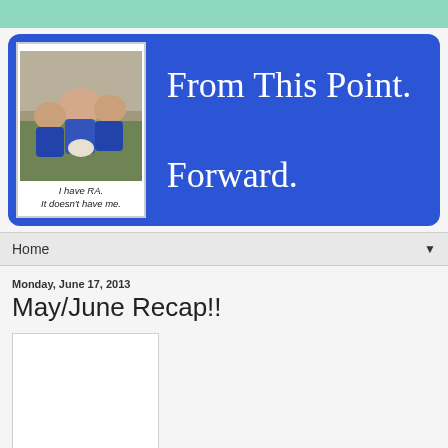[Figure (photo): Blog header banner with blue background showing blog title 'From This Point. Forward.' and a family photo with caption 'I have RA. It doesn't have me.']
Home ▼
Monday, June 17, 2013
May/June Recap!!
[Figure (photo): Partially visible image placeholder (white rectangle with border)]